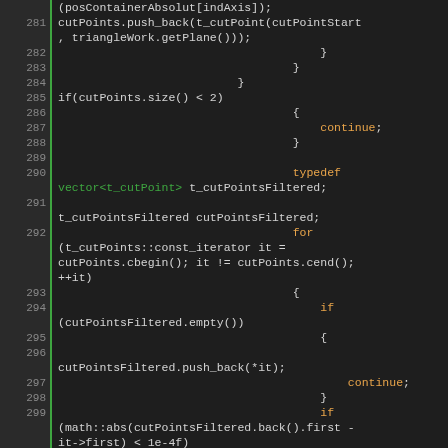[Figure (screenshot): Source code listing in a dark-themed code editor showing C++ code lines 281–302 involving cut points filtering logic with syntax highlighting: keywords in orange, types in teal/green, default code in white/light gray, line numbers in gray on darker background with green vertical bar separator.]